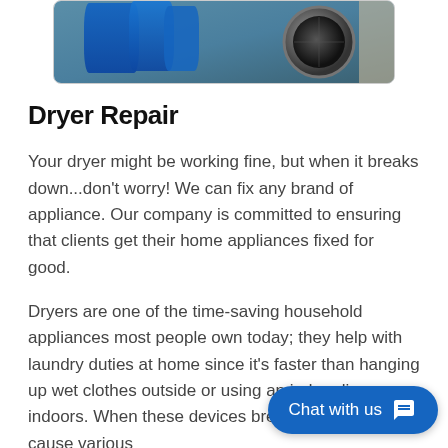[Figure (photo): Photo of blue gloves and a washing machine/dryer drum, partially cropped at top]
Dryer Repair
Your dryer might be working fine, but when it breaks down...don't worry! We can fix any brand of appliance. Our company is committed to ensuring that clients get their home appliances fixed for good.
Dryers are one of the time-saving household appliances most people own today; they help with laundry duties at home since it's faster than hanging up wet clothes outside or using an indoor line indoors. When these devices break down and cause various